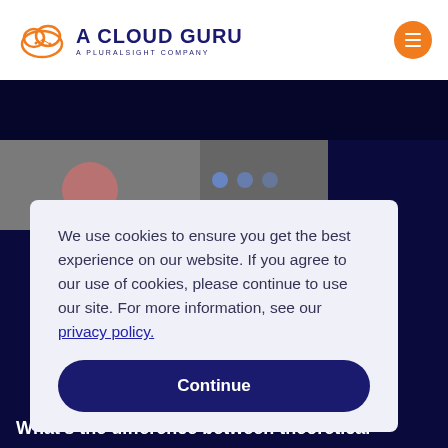[Figure (logo): A Cloud Guru logo with orange cloud icon and navy blue text reading 'A CLOUD GURU / A PLURALSIGHT COMPANY']
[Figure (screenshot): Website screenshot showing dark navy header area and a partially visible video thumbnail on the left side]
We use cookies to ensure you get the best experience on our website. If you agree to our use of cookies, please continue to use our site. For more information, see our privacy policy.
Continue
What's the difference between theoretical